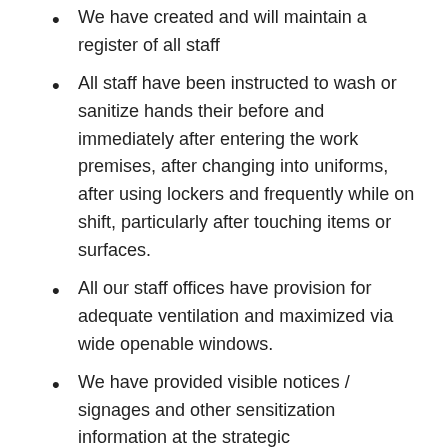We have created and will maintain a register of all staff
All staff have been instructed to wash or sanitize hands their before and immediately after entering the work premises, after changing into uniforms, after using lockers and frequently while on shift, particularly after touching items or surfaces.
All our staff offices have provision for adequate ventilation and maximized via wide openable windows.
We have provided visible notices / signages and other sensitization information at the strategic locations/entrance on Covid-19 preventive measures, screening, frequent hand washing and sanitization and mandatory wearing of face masks.